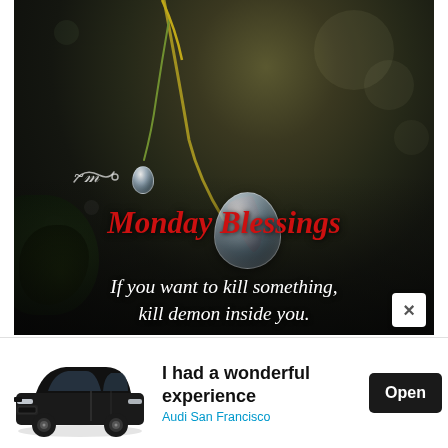[Figure (photo): Close-up macro photo of water droplets on a plant stem/grass blade against a dark blurred background. A large spherical water drop hangs from the tip of a curved stem, with a smaller drop visible above on the same stem. A brown dried leaf is visible near the large drop. Dark blurred foliage fills the background. Overlaid text reads 'Monday Blessings' in red italic script, and 'If you want to kill something, kill demon inside you.' in white italic text. A decorative white swirl appears before 'Monday Blessings'. An X close button appears in the lower right corner over the image.]
[Figure (infographic): Advertisement banner for Audi San Francisco. Shows a black Audi SUV (Q3/Q5 style) on the left, bold text 'I had a wonderful experience' in the center, 'Audi San Francisco' in cyan below, and a black 'Open' button on the right. AdChoices icon (blue triangle with 'i' and 'x') appears in the top right corner of the ad.]